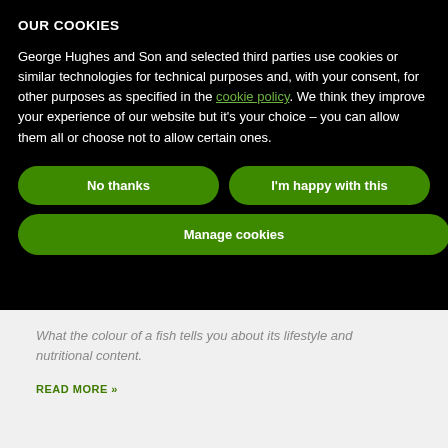OUR COOKIES
George Hughes and Son and selected third parties use cookies or similar technologies for technical purposes and, with your consent, for other purposes as specified in the cookie policy. We think they improve your experience of our website but it's your choice – you can allow them all or choose not to allow certain ones.
No thanks
I'm happy with this
Manage cookies
What the colour of a fish tells you about its lifestyle and nutritional content.
READ MORE »